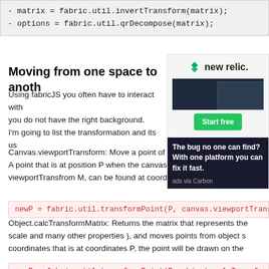- matrix = fabric.util.invertTransform(matrix);
- options = fabric.util.qrDecompose(matrix);
[Figure (other): New Relic advertisement with logo, Start free button, and dark panel with text: The bug no one can find? With one platform you can fix it fast. ads via Carbon]
Moving from one space to another
Using fabricJS you often have to interact with you do not have the right background.
I'm going to list the transformation and its u
Canvas.viewportTransform: Move a point of A point that is at position P when the canvas viewportTransfrom M, can be found at coordinates:
newP = fabric.util.transformPoint(P, canvas.viewportTransfo
Object.calcTransformMatrix: Returns the matrix that represents the scale and many other properties ), and moves points from object s coordinates that is at coordinates P, the point will be drawn on the
newP = fabric.util.transformPoint(P, object.calcTransformMat
Transforms order
During rendering, Fabric applies transformations in this order: